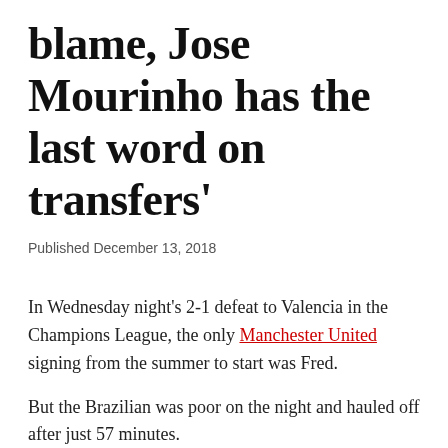blame, Jose Mourinho has the last word on transfers'
Published December 13, 2018
In Wednesday night's 2-1 defeat to Valencia in the Champions League, the only Manchester United signing from the summer to start was Fred.
But the Brazilian was poor on the night and hauled off after just 57 minutes.